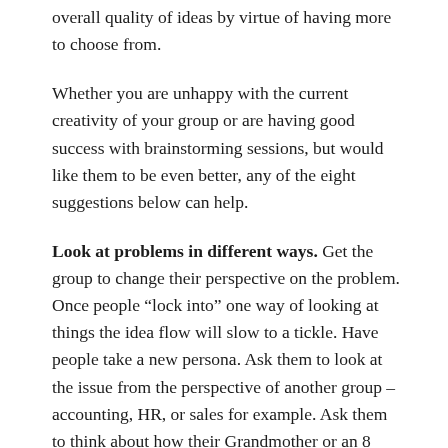overall quality of ideas by virtue of having more to choose from.
Whether you are unhappy with the current creativity of your group or are having good success with brainstorming sessions, but would like them to be even better, any of the eight suggestions below can help.
Look at problems in different ways. Get the group to change their perspective on the problem. Once people “lock into” one way of looking at things the idea flow will slow to a tickle. Have people take a new persona. Ask them to look at the issue from the perspective of another group – accounting, HR, or sales for example. Ask them to think about how their Grandmother or an 8 year old would solve the problem. These are simple ways to force people into a new perspective and the new perspectives will